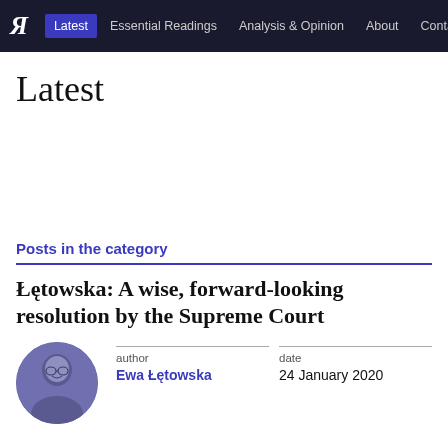Я | Latest | Essential Readings | Analysis & Opinion | About | Contact
Latest
Posts in the category
Łętowska: A wise, forward-looking resolution by the Supreme Court
author
Ewa Łętowska
date
24 January 2020